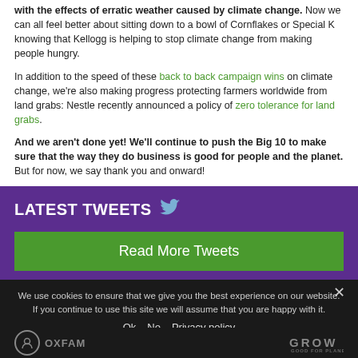with the effects of erratic weather caused by climate change. Now we can all feel better about sitting down to a bowl of Cornflakes or Special K knowing that Kellogg is helping to stop climate change from making people hungry.
In addition to the speed of these back to back campaign wins on climate change, we're also making progress protecting farmers worldwide from land grabs: Nestle recently announced a policy of zero tolerance for land grabs.
And we aren't done yet! We'll continue to push the Big 10 to make sure that the way they do business is good for people and the planet. But for now, we say thank you and onward!
LATEST TWEETS
Read More Tweets
We use cookies to ensure that we give you the best experience on our website. If you continue to use this site we will assume that you are happy with it.
Ok   No   Privacy policy
[Figure (logo): Oxfam logo and GROW logo in footer]